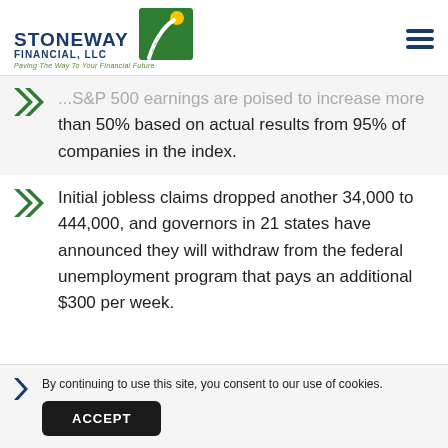STONEWAY FINANCIAL, LLC — Paving The Way To Your Financial Future
...S&P 500 earnings are poised to increase more than 50% based on actual results from 95% of companies in the index.
Initial jobless claims dropped another 34,000 to 444,000, and governors in 21 states have announced they will withdraw from the federal unemployment program that pays an additional $300 per week.
By continuing to use this site, you consent to our use of cookies.